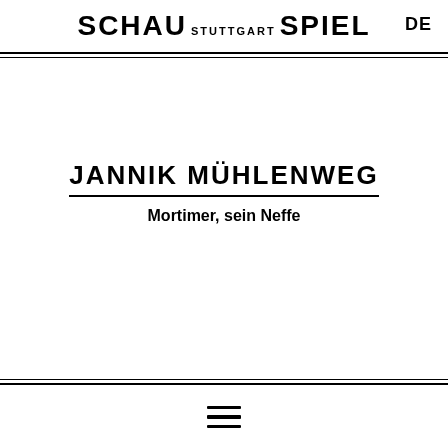SCHAU STUTTGART SPIEL  DE
JANNIK MÜHLENWEG
Mortimer, sein Neffe
☰